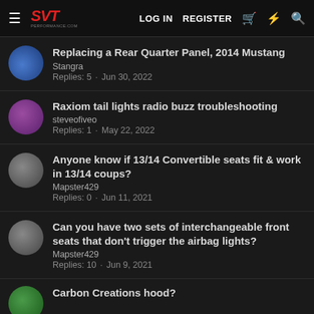SVT Performance | LOG IN | REGISTER
Replacing a Rear Quarter Panel, 2014 Mustang | Stangra | Replies: 5 · Jun 30, 2022
Raxiom tail lights radio buzz troubleshooting | steveofiveo | Replies: 1 · May 22, 2022
Anyone know if 13/14 Convertible seats fit & work in 13/14 coups? | Mapster429 | Replies: 0 · Jun 11, 2021
Can you have two sets of interchangeable front seats that don't trigger the airbag lights? | Mapster429 | Replies: 10 · Jun 9, 2021
Carbon Creations hood?